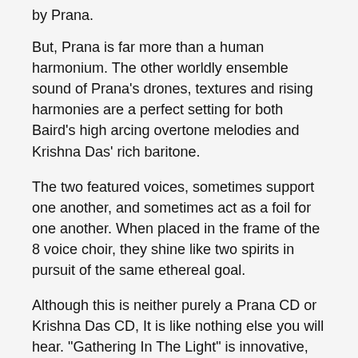by Prana.
But, Prana is far more than a human harmonium. The other worldly ensemble sound of Prana's drones, textures and rising harmonies are a perfect setting for both Baird's high arcing overtone melodies and Krishna Das' rich baritone.
The two featured voices, sometimes support one another, and sometimes act as a foil for one another. When placed in the frame of the 8 voice choir, they shine like two spirits in pursuit of the same ethereal goal.
Although this is neither purely a Prana CD or Krishna Das CD, It is like nothing else you will hear. "Gathering In The Light" is innovative, heartfelt, and breath taking.
THE STORY
In October of 2004 Krishna Das attended a release party for PRANA's first CD, "The Eternal Embrace". After Prana had sung, Krishna Das said to Baird, "Let's make a record together or